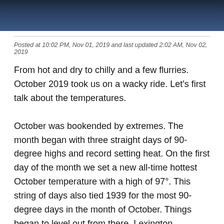[Figure (photo): Dark blue-toned banner image at top of page, partially visible photograph with dark shadowy figures]
Posted at 10:02 PM, Nov 01, 2019 and last updated 2:02 AM, Nov 02, 2019
From hot and dry to chilly and a few flurries. October 2019 took us on a wacky ride. Let’s first talk about the temperatures.
October was bookended by extremes. The month began with three straight days of 90-degree highs and record setting heat. On the first day of the month we set a new all-time hottest October temperature with a high of 97°. This string of days also tied 1939 for the most 90-degree days in the month of October. Things began to level out from there. Lexington recorded the